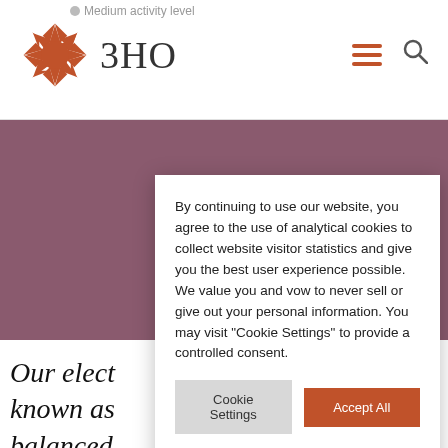Medium activity level
[Figure (logo): 3HO logo with orange sun/star icon and text '3HO']
[Figure (illustration): Purple/mauve banner image]
Our elect... known as... balanced... you from... keep you healthy
By continuing to use our website, you agree to the use of analytical cookies to collect website visitor statistics and give you the best user experience possible. We value you and vow to never sell or give out your personal information. You may visit "Cookie Settings" to provide a controlled consent.
Cookie Settings
Accept All
Read More